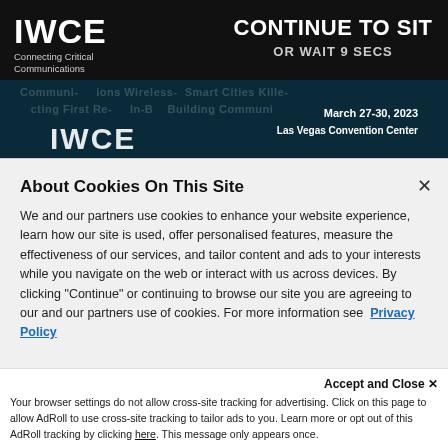IWCE Connecting Critical Communications
CONTINUE TO SITE OR WAIT 9 SECS
[Figure (screenshot): IWCE conference banner with dark background, watermark text about communications, wireless, smart cities, March 27-30, 2023, Las Vegas Convention Center]
About Cookies On This Site
We and our partners use cookies to enhance your website experience, learn how our site is used, offer personalised features, measure the effectiveness of our services, and tailor content and ads to your interests while you navigate on the web or interact with us across devices. By clicking "Continue" or continuing to browse our site you are agreeing to our and our partners use of cookies. For more information see Privacy Policy
Accept and Close ✕
Your browser settings do not allow cross-site tracking for advertising. Click on this page to allow AdRoll to use cross-site tracking to tailor ads to you. Learn more or opt out of this AdRoll tracking by clicking here. This message only appears once.